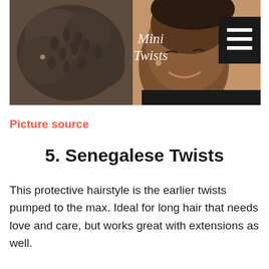[Figure (photo): Two Black women showing mini twists hairstyle. Left side shows the back of a head with mini twists hairstyle. Right side shows a woman smiling looking down. Text overlay reads 'Mini Twists' in white italic script.]
Picture source
5. Senegalese Twists
This protective hairstyle is the earlier twists pumped to the max. Ideal for long hair that needs love and care, but works great with extensions as well.